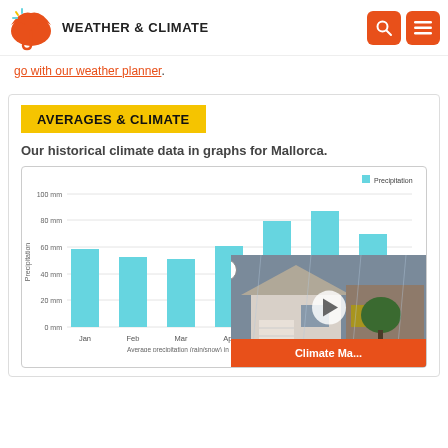WEATHER & CLIMATE
go with our weather planner.
AVERAGES & CLIMATE
Our historical climate data in graphs for Mallorca.
[Figure (bar-chart): Average precipitation (rain/snow) in Ka...]
Average precipitation (rain/snow) in Ka...
[Figure (photo): Video overlay showing a rainy suburban house scene with a play button and Climate Ma banner]